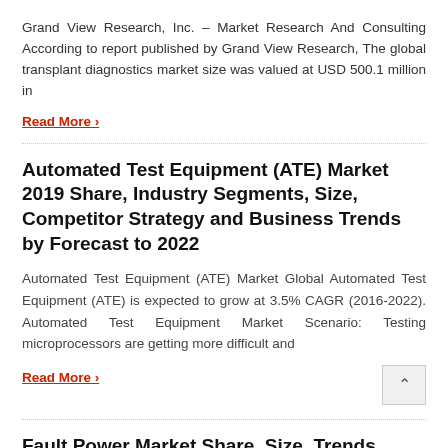Grand View Research, Inc. – Market Research And Consulting According to report published by Grand View Research, The global transplant diagnostics market size was valued at USD 500.1 million in
Read More ›
Automated Test Equipment (ATE) Market 2019 Share, Industry Segments, Size, Competitor Strategy and Business Trends by Forecast to 2022
Automated Test Equipment (ATE) Market Global Automated Test Equipment (ATE) is expected to grow at 3.5% CAGR (2016-2022). Automated Test Equipment Market Scenario: Testing microprocessors are getting more difficult and
Read More ›
Fault Power Market Share, Size, Trends...